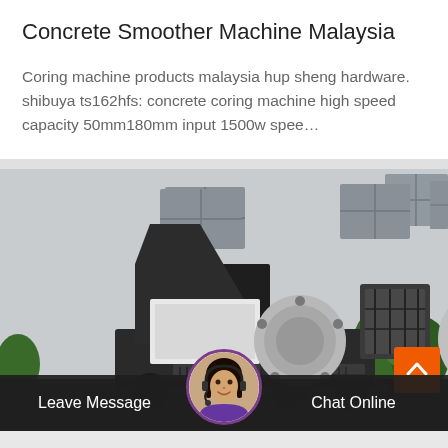Concrete Smoother Machine Malaysia
Coring machine products malaysia hup sheng hardware. shibuya ts162hfs: concrete coring machine high speed capacity 50mm180mm input 1500w spee…
[Figure (photo): Photo of heavy construction/crushing machine (wheeled jaw crusher or rock crusher) parked in front of a large grey industrial building with windows. Trees visible on the right side.]
Leave Message
Chat Online